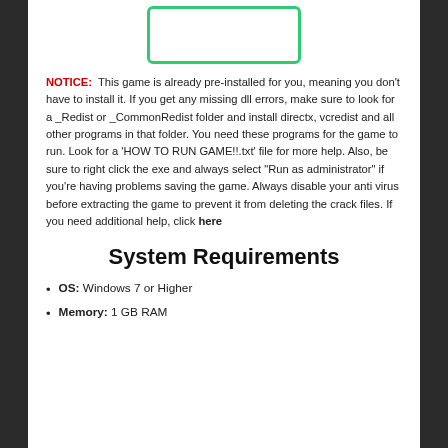[Figure (other): Green-bordered rectangle box at the top of the page]
NOTICE: This game is already pre-installed for you, meaning you don't have to install it. If you get any missing dll errors, make sure to look for a _Redist or _CommonRedist folder and install directx, vcredist and all other programs in that folder. You need these programs for the game to run. Look for a 'HOW TO RUN GAME!!.txt' file for more help. Also, be sure to right click the exe and always select "Run as administrator" if you're having problems saving the game. Always disable your anti virus before extracting the game to prevent it from deleting the crack files. If you need additional help, click here
System Requirements
OS: Windows 7 or Higher
Memory: 1 GB RAM